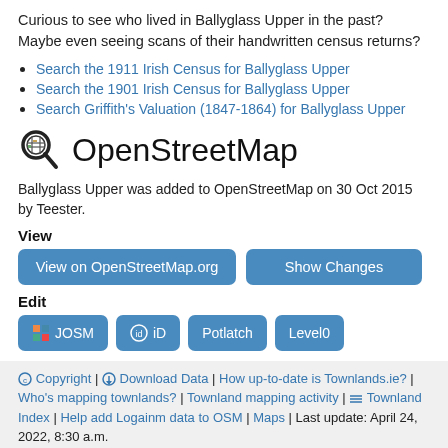Curious to see who lived in Ballyglass Upper in the past? Maybe even seeing scans of their handwritten census returns?
Search the 1911 Irish Census for Ballyglass Upper
Search the 1901 Irish Census for Ballyglass Upper
Search Griffith's Valuation (1847-1864) for Ballyglass Upper
OpenStreetMap
Ballyglass Upper was added to OpenStreetMap on 30 Oct 2015 by Teester.
View
View on OpenStreetMap.org
Show Changes
Edit
JOSM
iD
Potlatch
Level0
© Copyright | ⏬ Download Data | How up-to-date is Townlands.ie? | Who's mapping townlands? | Townland mapping activity | ≡ Townland Index | Help add Logainm data to OSM | Maps | Last update: April 24, 2022, 8:30 a.m.